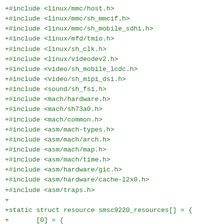+#include <linux/mmc/host.h>
+#include <linux/mmc/sh_mmcif.h>
+#include <linux/mmc/sh_mobile_sdhi.h>
+#include <linux/mfd/tmio.h>
+#include <linux/sh_clk.h>
+#include <linux/videodev2.h>
+#include <video/sh_mobile_lcdc.h>
+#include <video/sh_mipi_dsi.h>
+#include <sound/sh_fsi.h>
+#include <mach/hardware.h>
+#include <mach/sh73a0.h>
+#include <mach/common.h>
+#include <asm/mach-types.h>
+#include <asm/mach/arch.h>
+#include <asm/mach/map.h>
+#include <asm/mach/time.h>
+#include <asm/hardware/gic.h>
+#include <asm/hardware/cache-l2x0.h>
+#include <asm/traps.h>
+
+static struct resource smsc9220_resources[] = {
+       [0] = {
+               .start          = 0x14000000,
+               .end            = 0x14000000 + SZ_64K - 1,
+               .flags          = IORESOURCE_MEM,